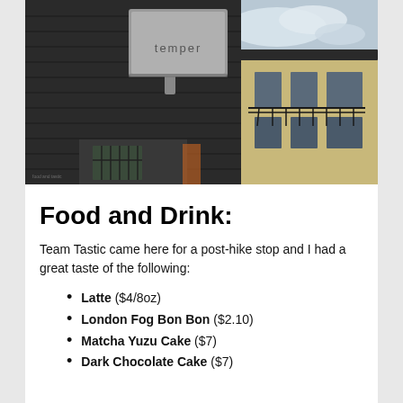[Figure (photo): Exterior photo of a café/restaurant called 'temper', showing a metal sign mounted on a dark wood-paneled building exterior with a sky and adjacent building visible in the background.]
Food and Drink:
Team Tastic came here for a post-hike stop and I had a great taste of the following:
Latte ($4/8oz)
London Fog Bon Bon ($2.10)
Matcha Yuzu Cake ($7)
Dark Chocolate Cake ($7)